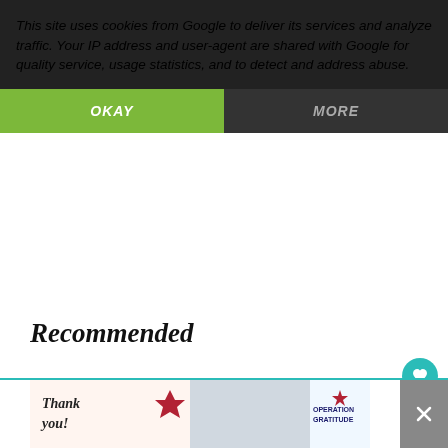This site uses cookies from Google to deliver its services and analyze traffic. Your IP address and user-agent are shared with Google for quality service, usage statistics, and to detect and address abuse.
OKAY
MORE
Recommended
Gooseberry Patch Slow Cooking All Year' Round Recipe Review and Giveaway
Read More →
WHAT'S NEXT → Gooseberry Patch The...
[Figure (screenshot): Advertisement banner at bottom showing 'Thank you!' text with Operation Gratitude branding and people in masks]